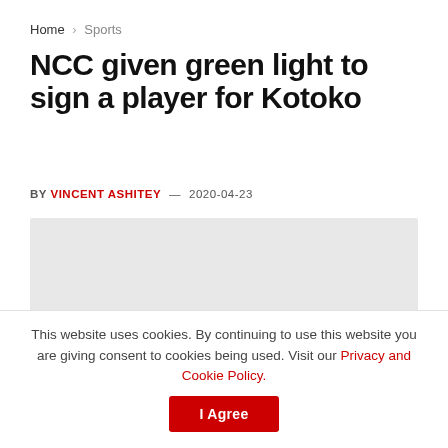Home > Sports
NCC given green light to sign a player for Kotoko
BY VINCENT ASHITEY — 2020-04-23
[Figure (photo): Gray placeholder image for article photo]
This website uses cookies. By continuing to use this website you are giving consent to cookies being used. Visit our Privacy and Cookie Policy. I Agree